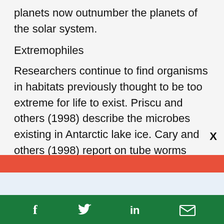planets now outnumber the planets of the solar system.
Extremophiles
Researchers continue to find organisms in habitats previously thought to be too extreme for life to exist. Priscu and others (1998) describe the microbes existing in Antarctic lake ice. Cary and others (1998) report on tube worms living on the outer walls of deep-sea
Support climate change
f  t  in  mail